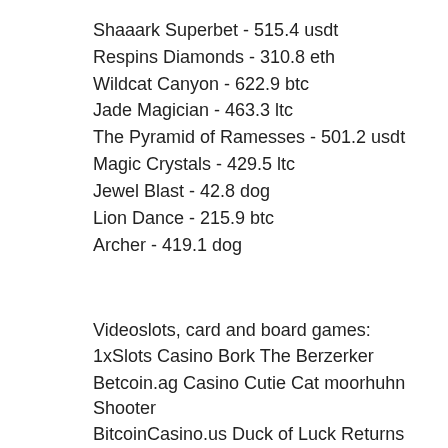Shaaark Superbet - 515.4 usdt
Respins Diamonds - 310.8 eth
Wildcat Canyon - 622.9 btc
Jade Magician - 463.3 ltc
The Pyramid of Ramesses - 501.2 usdt
Magic Crystals - 429.5 ltc
Jewel Blast - 42.8 dog
Lion Dance - 215.9 btc
Archer - 419.1 dog
Videoslots, card and board games:
1xSlots Casino Bork The Berzerker
Betcoin.ag Casino Cutie Cat moorhuhn Shooter
BitcoinCasino.us Duck of Luck Returns
CryptoWild Casino Aztec Gold
OneHash Alchemist´s Spell
BetChain Casino Glorious Rome
BitStarz Casino Bullseye
Diamond Reels Casino Sevens